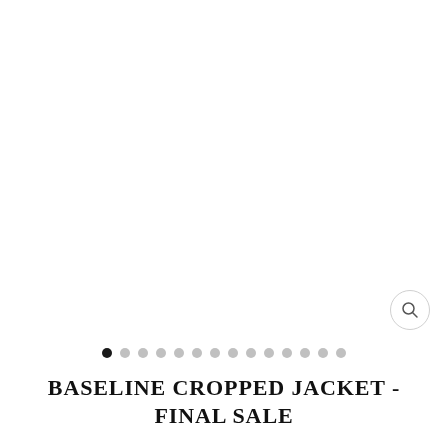[Figure (photo): Large white/blank product image area for a cropped jacket]
BASELINE CROPPED JACKET - FINAL SALE
$40.00  $80.00